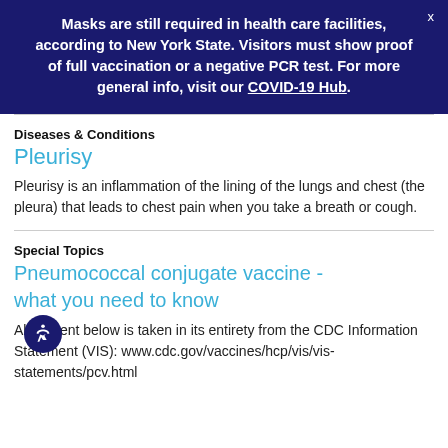Masks are still required in health care facilities, according to New York State. Visitors must show proof of full vaccination or a negative PCR test. For more general info, visit our COVID-19 Hub.
Diseases & Conditions
Pleurisy
Pleurisy is an inflammation of the lining of the lungs and chest (the pleura) that leads to chest pain when you take a breath or cough.
Special Topics
Pneumococcal conjugate vaccine - what you need to know
All content below is taken in its entirety from the CDC Information Statement (VIS): www.cdc.gov/vaccines/hcp/vis/vis-statements/pcv.html